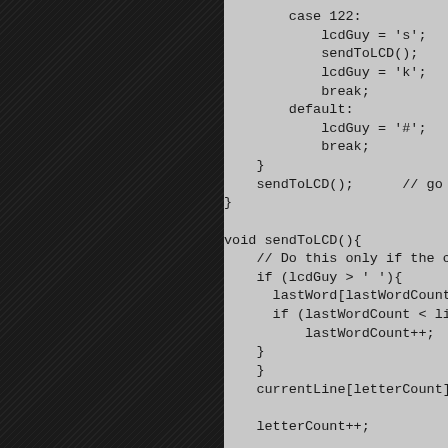[Figure (screenshot): Dark panel on the left side of the page with diagonal line texture pattern]
case 122:
    lcdGuy = 's';
    sendToLCD();
    lcdGuy = 'k';
    break;
default:
    lcdGuy = '#';    // Should
    break;
}
sendToLCD();    // go figure ou
}

void sendToLCD(){
    // Do this only if the characte
    if (lcdGuy > ' '){
        lastWord[lastWordCount] = lcdG
        if (lastWordCount < lineEnd -
            lastWordCount++;    // only b
    }
    }
    currentLine[letterCount] = lcdG

    letterCount++;

    // If we have reached the end o